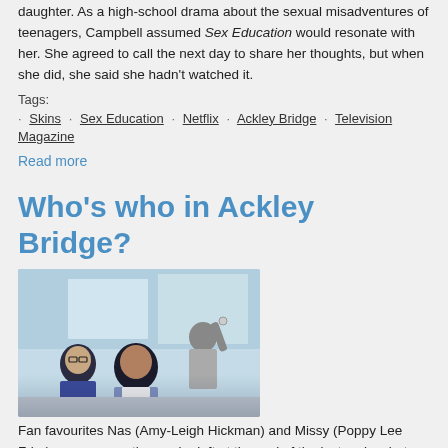daughter. As a high-school drama about the sexual misadventures of teenagers, Campbell assumed Sex Education would resonate with her. She agreed to call the next day to share her thoughts, but when she did, she said she hadn't watched it.
Tags: · Skins · Sex Education · Netflix · Ackley Bridge · Television Magazine
Read more
Who's who in Ackley Bridge?
[Figure (photo): Three young people posed in what appears to be a school setting with blue/teal background. Two female figures in blue uniforms and one male figure standing behind.]
Fan favourites Nas (Amy-Leigh Hickman) and Missy (Poppy Lee Friar) were among those who left at the end of the last series, but